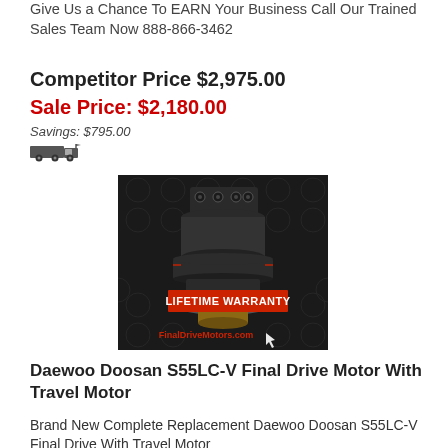Give Us a Chance To EARN Your Business Call Our Trained Sales Team Now 888-866-3462
Competitor Price $2,975.00
Sale Price: $2,180.00
Savings: $795.00
[Figure (photo): Product photo of a Daewoo Doosan S55LC-V Final Drive Motor with Travel Motor on dark hexagonal background, with LIFETIME WARRANTY text overlay and FinalDriveMotors.com branding]
Daewoo Doosan S55LC-V Final Drive Motor With Travel Motor
Brand New Complete Replacement Daewoo Doosan S55LC-V Final Drive With Travel Motor